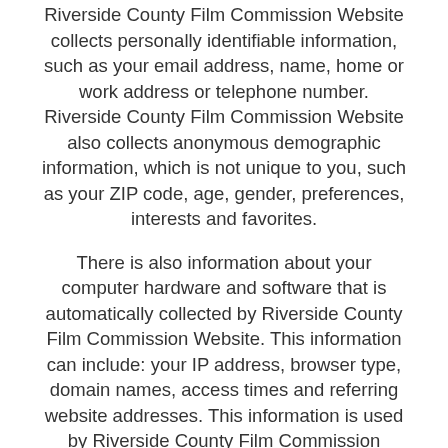Riverside County Film Commission Website collects personally identifiable information, such as your email address, name, home or work address or telephone number. Riverside County Film Commission Website also collects anonymous demographic information, which is not unique to you, such as your ZIP code, age, gender, preferences, interests and favorites.
There is also information about your computer hardware and software that is automatically collected by Riverside County Film Commission Website. This information can include: your IP address, browser type, domain names, access times and referring website addresses. This information is used by Riverside County Film Commission Website for the operation of the service, to maintain quality of the service, and to provide general statistics regarding use of the Riverside County Film Commission Website.